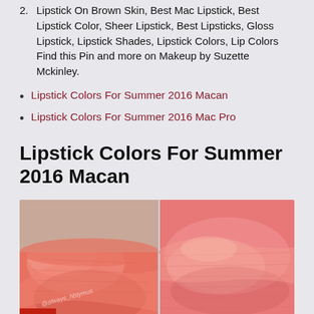2. Lipstick On Brown Skin, Best Mac Lipstick, Best Lipstick Color, Sheer Lipstick, Best Lipsticks, Gloss Lipstick, Lipstick Shades, Lipstick Colors, Lip Colors Find this Pin and more on Makeup by Suzette Mckinley.
Lipstick Colors For Summer 2016 Macan
Lipstick Colors For Summer 2016 Mac Pro
Lipstick Colors For Summer 2016 Macan
[Figure (photo): Close-up photo of lips wearing coral/pink-red lipstick, shown in two side-by-side panels with a watermark @always_hbtymus]